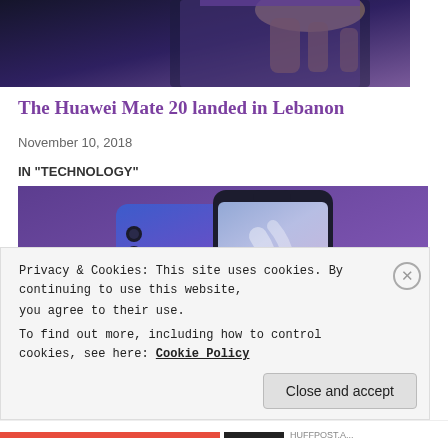[Figure (photo): Top cropped image showing a hand touching a dark smartphone with a purple/dark blue gradient background]
The Huawei Mate 20 landed in Lebanon
November 10, 2018
IN "TECHNOLOGY"
[Figure (photo): Huawei smartphone (blue/purple color) displayed on a purple background, showing front and back views]
Privacy & Cookies: This site uses cookies. By continuing to use this website, you agree to their use.
To find out more, including how to control cookies, see here: Cookie Policy
Close and accept